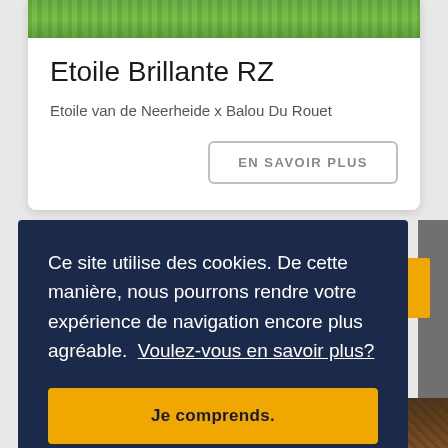[Figure (photo): Green grass strip at top of card]
Etoile Brillante RZ
Etoile van de Neerheide x Balou Du Rouet
EN SAVOIR PLUS
Ce site utilise des cookies. De cette manière, nous pourrons rendre votre expérience de navigation encore plus agréable.  Voulez-vous en savoir plus?
Je comprends.